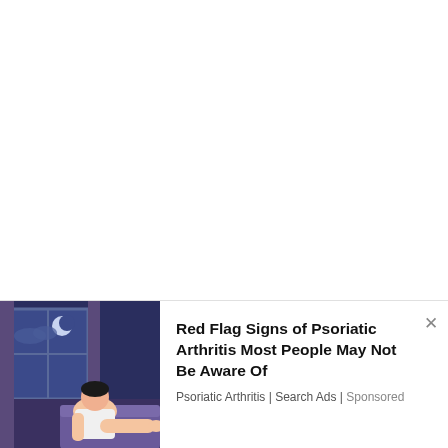[Figure (illustration): Illustrated advertisement banner showing a person sitting on a bed at night, moonlit window in background, blue-purple night scene illustration]
Red Flag Signs of Psoriatic Arthritis Most People May Not Be Aware Of
Psoriatic Arthritis | Search Ads | Sponsored